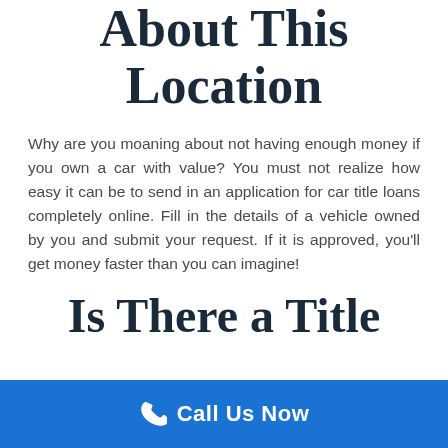About This Location
Why are you moaning about not having enough money if you own a car with value? You must not realize how easy it can be to send in an application for car title loans completely online. Fill in the details of a vehicle owned by you and submit your request. If it is approved, you'll get money faster than you can imagine!
Is There a Title
Call Us Now